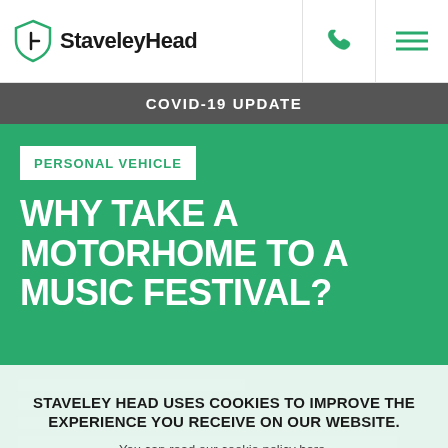StaveleyHead
COVID-19 UPDATE
PERSONAL VEHICLE
WHY TAKE A MOTORHOME TO A MUSIC FESTIVAL?
STAVELEY HEAD USES COOKIES TO IMPROVE THE EXPERIENCE YOU RECEIVE ON OUR WEBSITE.
You can read our cookie policy here.
Ok
GIVE US A CALL